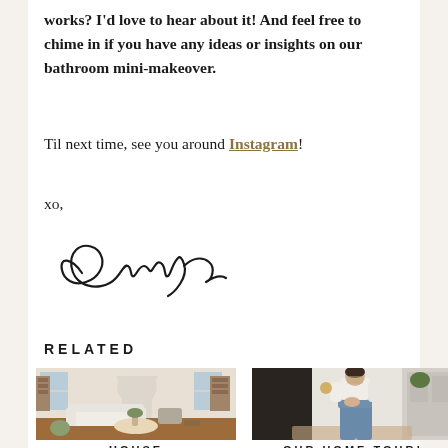works? I'd love to hear about it! And feel free to chime in if you have any ideas or insights on our bathroom mini-makeover.
Til next time, see you around Instagram!
xo,
[Figure (illustration): Cursive handwritten signature reading 'Caroline']
RELATED
[Figure (photo): Interior living room photo with white sofa, round coffee table, bookshelves and large windows]
[Figure (photo): Person standing in doorway wearing white top and blue jeans]
HOUSE
OUR HOME TOUR!